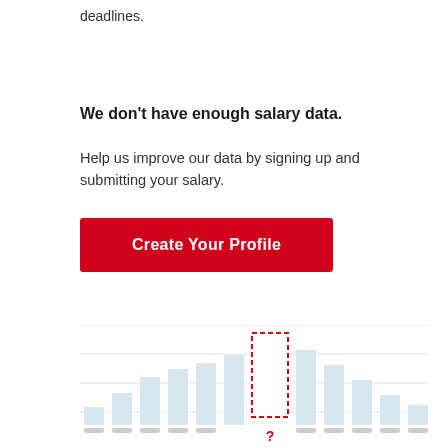deadlines.
We don't have enough salary data.
Help us improve our data by signing up and submitting your salary.
[Figure (other): Red 'Create Your Profile' button]
[Figure (bar-chart): Blurred/placeholder salary distribution bar chart with a dashed red rectangle highlighting the unknown/missing data point and a red question mark below it. Bars are light blue/grey. X-axis labels are blurred out.]